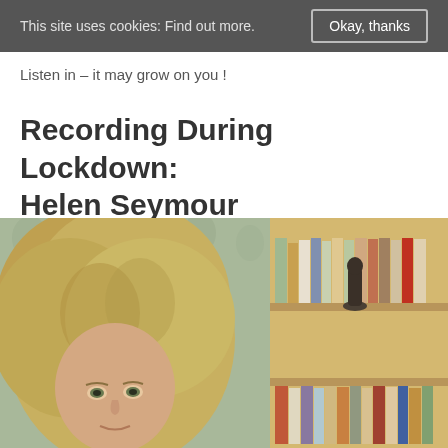This site uses cookies: Find out more.  Okay, thanks
Listen in – it may grow on you !
Recording During Lockdown: Helen Seymour
[Figure (photo): Photograph of Helen Seymour, a woman with voluminous blonde/grey wavy hair, looking slightly upward. On the right side is a bookshelf with various books and a small dark figurine/sculpture.]